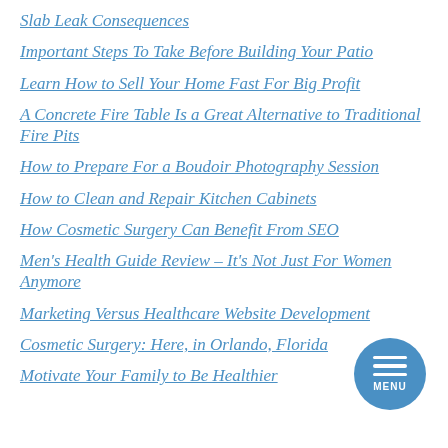Slab Leak Consequences
Important Steps To Take Before Building Your Patio
Learn How to Sell Your Home Fast For Big Profit
A Concrete Fire Table Is a Great Alternative to Traditional Fire Pits
How to Prepare For a Boudoir Photography Session
How to Clean and Repair Kitchen Cabinets
How Cosmetic Surgery Can Benefit From SEO
Men's Health Guide Review – It's Not Just For Women Anymore
Marketing Versus Healthcare Website Development
Cosmetic Surgery: Here, in Orlando, Florida
Motivate Your Family to Be Healthier